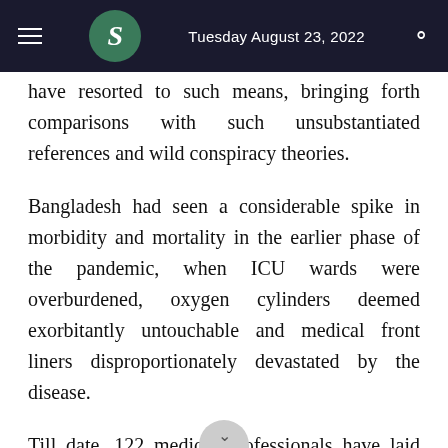Tuesday August 23, 2022
have resorted to such means, bringing forth comparisons with such unsubstantiated references and wild conspiracy theories.
Bangladesh had seen a considerable spike in morbidity and mortality in the earlier phase of the pandemic, when ICU wards were overburdened, oxygen cylinders deemed exorbitantly untouchable and medical front liners disproportionately devastated by the disease.
Till date, 122 medical professionals have laid down their lives battling the virus. Real figures of the death toll in the population in general may never